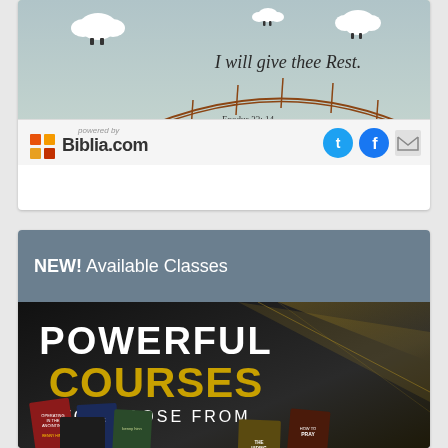[Figure (illustration): Top card showing a biblical verse illustration with sheep in clouds, a rainbow/arch over a green field, text 'I will give thee Rest.' and 'Exodus 33:14', with Biblia.com branding bar below including logo and social media icons (Twitter, Facebook, email)]
NEW! Available Classes
[Figure (illustration): Promotional banner for 'POWERFUL COURSES TO CHOOSE FROM' showing multiple book covers including titles by Benny Hinn such as 'Operating in the Anointing', 'Divine Healing', 'The Hiding God', 'How to Pray', 'Jesus', 'A Touch of His Grace']